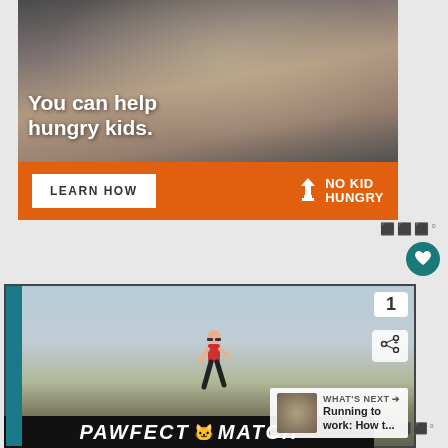[Figure (photo): No Kid Hungry advertisement. Top half shows a child eating food, with overlay text 'You can help hungry kids.' Bottom orange bar shows 'LEARN HOW' button and 'NO KID HUNGRY' logo.]
[Figure (screenshot): Video player card showing a woman in red shirt running across a field. Contains share button, count badge showing '1', and 'WHAT'S NEXT' panel showing 'Running to work: How t...']
[Figure (photo): Pawfect Match advertisement banner on black background with cat graphic and italic bold white text.]